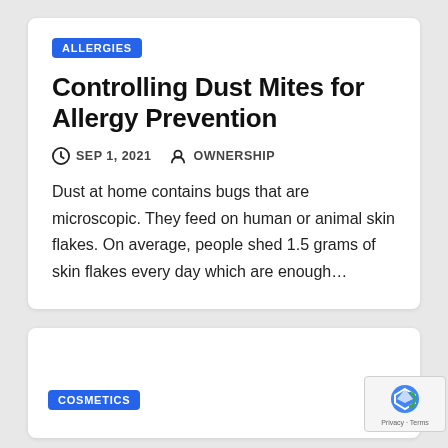ALLERGIES
Controlling Dust Mites for Allergy Prevention
SEP 1, 2021   OWNERSHIP
Dust at home contains bugs that are microscopic. They feed on human or animal skin flakes. On average, people shed 1.5 grams of skin flakes every day which are enough…
COSMETICS